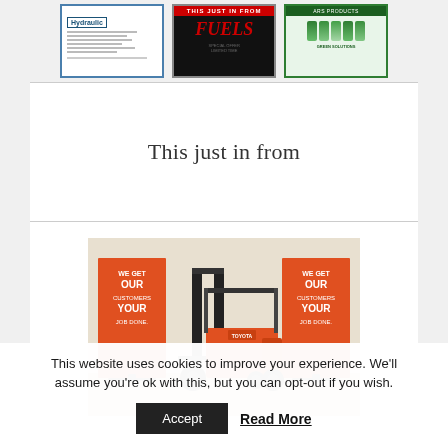[Figure (screenshot): Three thumbnail images side by side: first is a blue-bordered document/flyer, second is a dark background with red header and bold italic red text, third is a green-themed product advertisement with cans.]
This just in from
[Figure (photo): Photo of an orange and black Toyota forklift in a showroom with orange 'WE GET OUR CUSTOMERS YOUR JOB DONE' banner stands on either side.]
This website uses cookies to improve your experience. We'll assume you're ok with this, but you can opt-out if you wish.
Accept
Read More